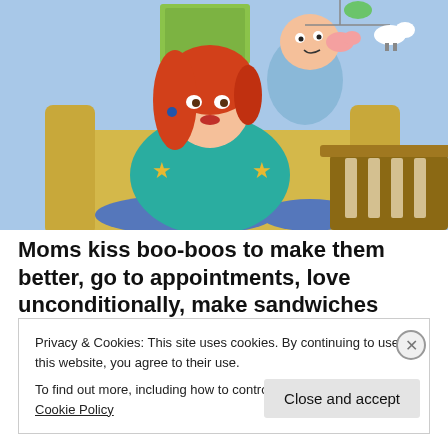[Figure (illustration): Cartoon illustration from Family Guy showing Lois Griffin, a woman with red hair wearing a teal blouse, sitting in a yellow chair holding baby Stewie. A baby crib and hanging mobile with animal figures appear in the background against a blue wall.]
Moms kiss boo-boos to make them better, go to appointments, love unconditionally, make sandwiches
Privacy & Cookies: This site uses cookies. By continuing to use this website, you agree to their use.
To find out more, including how to control cookies, see here: Cookie Policy